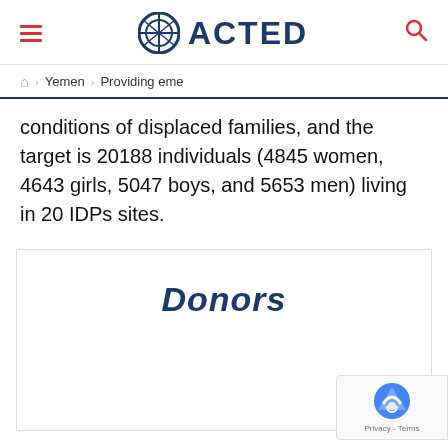ACTED
Yemen > Providing eme
conditions of displaced families, and the target is 20188 individuals (4845 women, 4643 girls, 5047 boys, and 5653 men) living in 20 IDPs sites.
Donors